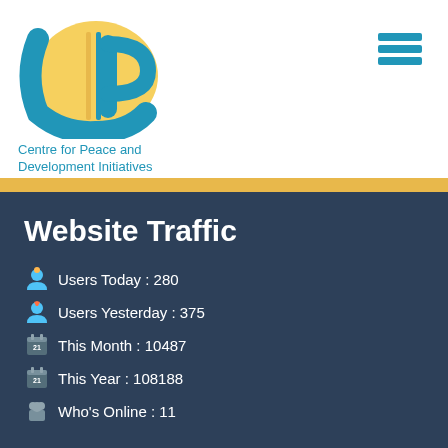[Figure (logo): CPDI logo - blue and yellow circular/arc design with letters CIP]
Centre for Peace and Development Initiatives
[Figure (other): Hamburger menu icon - three blue horizontal lines]
Website Traffic
Users Today : 280
Users Yesterday : 375
This Month : 10487
This Year : 108188
Who's Online : 11
Home   About CPDI   Board of Directors